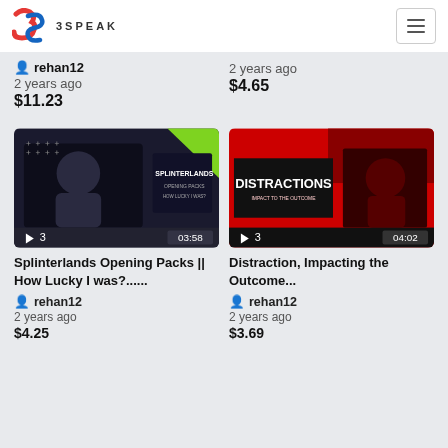3SPEAK
rehan12
2 years ago
$11.23
2 years ago
$4.65
[Figure (screenshot): Video thumbnail for Splinterlands Opening Packs game video, dark background with person and text SPLINTERLANDS OPENING PACKS HOW LUCKY I WAS?, showing play button 3 and duration 03:58]
[Figure (screenshot): Video thumbnail for Distraction Impacting the Outcome video, red background with person and bold text DISTRACTIONS IMPACT TO THE OUTCOME, showing play button 3 and duration 04:02]
Splinterlands Opening Packs || How Lucky I was?......
Distraction, Impacting the Outcome...
rehan12
2 years ago
$4.25
rehan12
2 years ago
$3.69